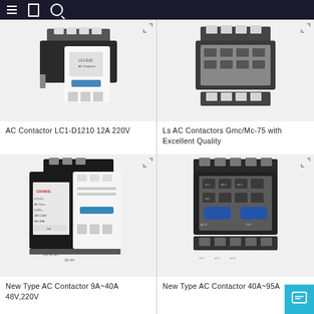Navigation bar with menu, brochure, and search icons
[Figure (photo): AC Contactor LC1-D1210 12A 220V - white and black contactor component photographed on white background]
AC Contactor LC1-D1210 12A 220V
[Figure (photo): Ls AC Contactors Gmc/Mc-75 with Excellent Quality - grey contactor component photographed on white background]
Ls AC Contactors Gmc/Mc-75 with Excellent Quality
[Figure (photo): New Type AC Contactor 9A~40A 48V,220V - black and white contactor with CHANOL branding label]
New Type AC Contactor 9A~40A 48V,220V
[Figure (photo): New Type AC Contactor 40A~95A - black contactor with blue accents]
New Type AC Contactor 40A~95A